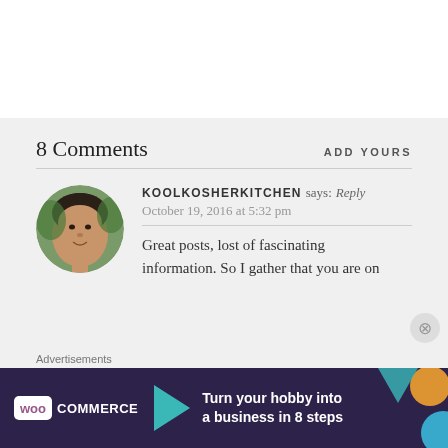8 Comments
ADD YOURS
KOOLKOSHERKITCHEN says: Reply
October 19, 2016 at 5:32 pm
Great posts, lost of fascinating information. So I gather that you are on
Advertisements
[Figure (screenshot): WooCommerce advertisement banner: 'Turn your hobby into a business in 8 steps']